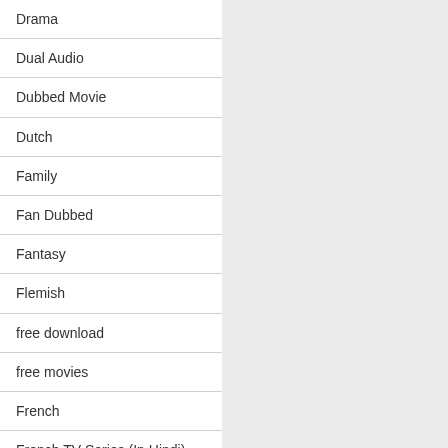Drama
Dual Audio
Dubbed Movie
Dutch
Family
Fan Dubbed
Fantasy
Flemish
free download
free movies
French
French TV Series (In Hindi)
Game-Show